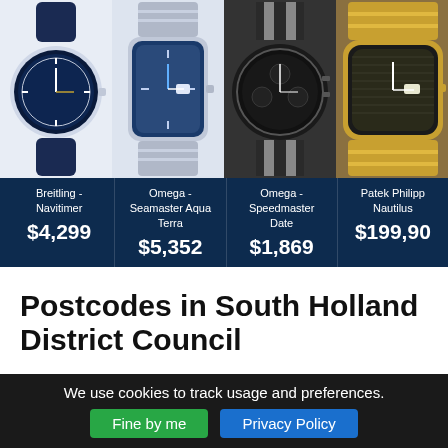[Figure (photo): Four luxury watch photos side by side: Breitling Navitimer (blue dial, leather strap), Omega Seamaster Aqua Terra (blue dial, bracelet), Omega Speedmaster Date (dark dial, NATO strap), Patek Philippe Nautilus (gold case)]
| Watch | Price |
| --- | --- |
| Breitling - Navitimer | $4,299 |
| Omega - Seamaster Aqua Terra | $5,352 |
| Omega - Speedmaster Date | $1,869 |
| Patek Philippe Nautilus | $199,90... |
Postcodes in South Holland District Council
Active geographic postcodes only. Non-geographic
We use cookies to track usage and preferences.